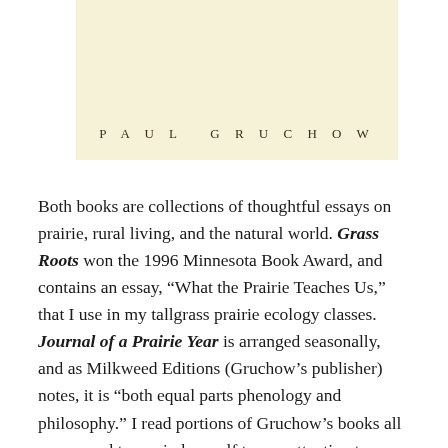[Figure (illustration): Book cover with cream/yellow background showing author name PAUL GRUCHOW in spaced uppercase letters]
Both books are collections of thoughtful essays on prairie, rural living, and the natural world. Grass Roots won the 1996 Minnesota Book Award, and contains an essay, “What the Prairie Teaches Us,” that I use in my tallgrass prairie ecology classes. Journal of a Prairie Year is arranged seasonally, and as Milkweed Editions (Gruchow’s publisher) notes, it is “both equal parts phenology and philosophy.” I read portions of Gruchow’s books all year round to remind myself to pay attention to what’s unfolding all around me.
Most prairie wildflowers and grasses are battered or buried under a foot of snow this